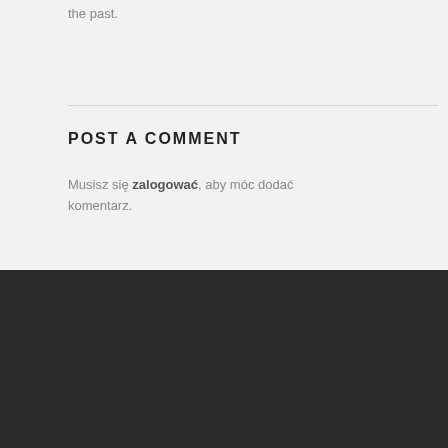the past.
POST A COMMENT
Musisz się zalogować, aby móc dodać komentarz.
[Figure (logo): Facebook logo with blue box containing white 'f' icon and 'facebook.' wordmark in blue]
[Figure (other): Circular button with vertical bar icon, white outline on dark background]
[Figure (logo): TripAdvisor logo with owl icon and tripadvisor wordmark in green and black]